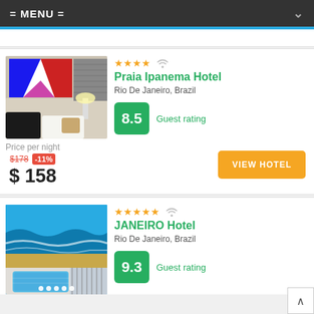= MENU =
Praia Ipanema Hotel
Rio De Janeiro, Brazil
Guest rating
8.5
Price per night
$178 -11%
$ 158
VIEW HOTEL
JANEIRO Hotel
Rio De Janeiro, Brazil
Guest rating
9.3